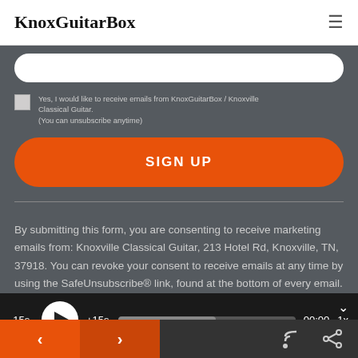KnoxGuitarBox
[Figure (screenshot): Checkbox input: Yes, I would like to receive emails from KnoxGuitarBox / Knoxville Classical Guitar. (You can unsubscribe anytime)]
[Figure (screenshot): SIGN UP button (orange rounded rectangle)]
By submitting this form, you are consenting to receive marketing emails from: Knoxville Classical Guitar, 213 Hotel Rd, Knoxville, TN, 37918. You can revoke your consent to receive emails at any time by using the SafeUnsubscribe® link, found at the bottom of every email. Emails are serviced by Constant
[Figure (screenshot): Audio player bar: -15s, play button, +15s, progress bar, 00:00, 1x speed controls]
< > RSS Share navigation footer